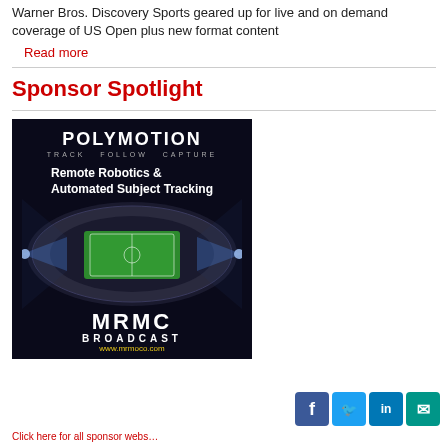Warner Bros. Discovery Sports geared up for live and on demand coverage of US Open plus new format content
Read more
Sponsor Spotlight
[Figure (photo): Polymotion / MRMC Broadcast advertisement showing aerial view of a football stadium with Remote Robotics & Automated Subject Tracking text, website www.mrmoco.com]
Click here for all sponsor webs…